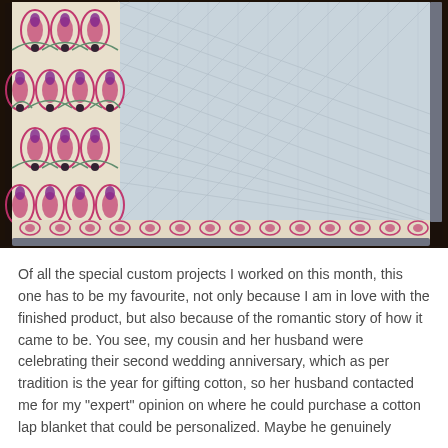[Figure (photo): Close-up photograph of a handmade quilt showing two sides: the decorative front fabric with an ornate Art Nouveau-style pattern in purple/magenta, cream, and dark colors on the left, and the plain light blue/grey quilted backing with diagonal stitching lines on the right. The quilt is folded to show both sides, with a grey binding visible along the edges. The quilt rests on a dark wooden surface.]
Of all the special custom projects I worked on this month, this one has to be my favourite, not only because I am in love with the finished product, but also because of the romantic story of how it came to be. You see, my cousin and her husband were celebrating their second wedding anniversary, which as per tradition is the year for gifting cotton, so her husband contacted me for my "expert" opinion on where he could purchase a cotton lap blanket that could be personalized. Maybe he genuinely